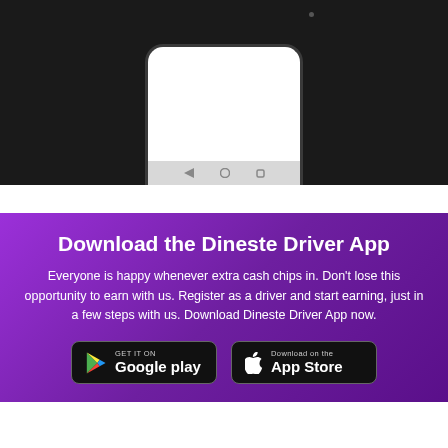[Figure (illustration): Bottom portion of an Android phone mockup shown against a dark/black background, showing the phone's bottom navigation bar area]
Download the Dineste Driver App
Everyone is happy whenever extra cash chips in. Don't lose this opportunity to earn with us. Register as a driver and start earning, just in a few steps with us. Download Dineste Driver App now.
[Figure (screenshot): Google Play Store download button - GET IT ON Google play]
[Figure (screenshot): Apple App Store download button - Download on the App Store]